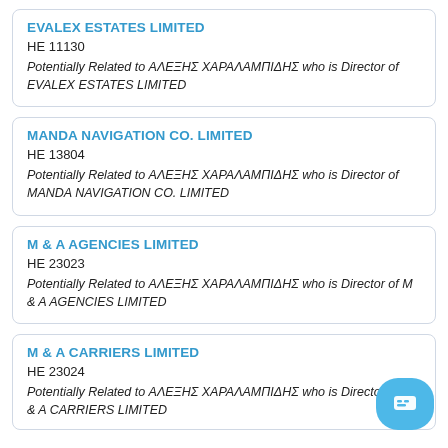EVALEX ESTATES LIMITED
HE 11130
Potentially Related to ΑΛΕΞΗΣ ΧΑΡΑΛΑΜΠΙΔΗΣ who is Director of EVALEX ESTATES LIMITED
MANDA NAVIGATION CO. LIMITED
HE 13804
Potentially Related to ΑΛΕΞΗΣ ΧΑΡΑΛΑΜΠΙΔΗΣ who is Director of MANDA NAVIGATION CO. LIMITED
M & A AGENCIES LIMITED
HE 23023
Potentially Related to ΑΛΕΞΗΣ ΧΑΡΑΛΑΜΠΙΔΗΣ who is Director of M & A AGENCIES LIMITED
M & A CARRIERS LIMITED
HE 23024
Potentially Related to ΑΛΕΞΗΣ ΧΑΡΑΛΑΜΠΙΔΗΣ who is Director of M & A CARRIERS LIMITED